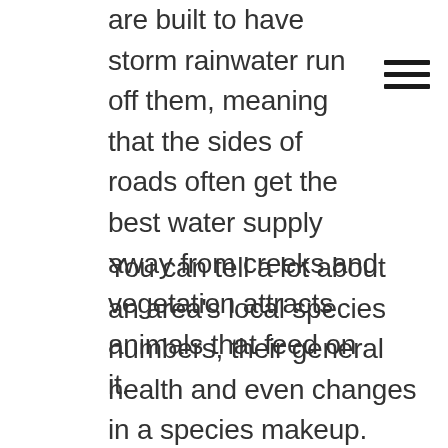are built to have storm rainwater run off them, meaning that the sides of roads often get the best water supply away from creeks and vegetation attracts animals that feed on it.
You can tell a lot about an area's local species numbers, their general health and even changes in a species makeup. American cliff swallows, as the name suggests, swallow their insect pray whole. They also like cliffs, whether naturally formed or